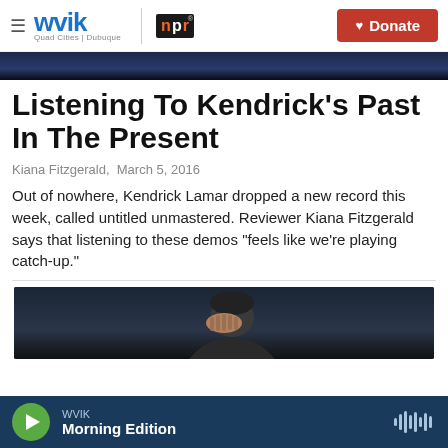WVIK Quad Cities | Dubuque | NPR | Donate
[Figure (photo): Dark blue abstract header image strip at the top of the article]
Listening To Kendrick's Past In The Present
Kiana Fitzgerald,  March 5, 2016
Out of nowhere, Kendrick Lamar dropped a new record this week, called untitled unmastered. Reviewer Kiana Fitzgerald says that listening to these demos "feels like we're playing catch-up."
[Figure (photo): Person with hands covering face, dark background]
WVIK Morning Edition